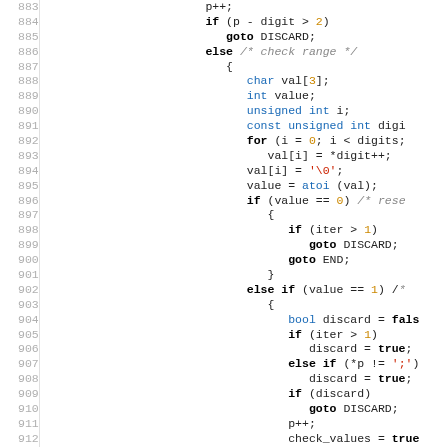[Figure (screenshot): Syntax-highlighted C source code, lines 883–912, showing p++ increment, conditional checks, character array val[3], atoi call, and nested if/else/goto logic.]